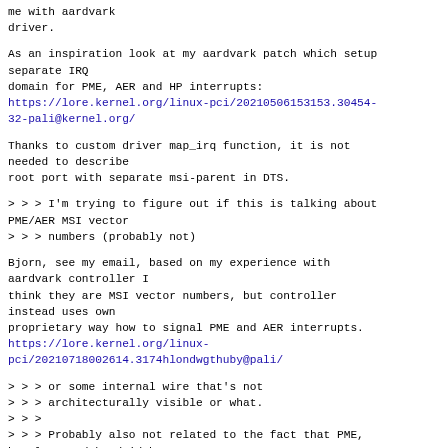me with aardvark
driver.
As an inspiration look at my aardvark patch which setup separate IRQ
domain for PME, AER and HP interrupts:
https://lore.kernel.org/linux-pci/20210506153153.30454-32-pali@kernel.org/
Thanks to custom driver map_irq function, it is not needed to describe
root port with separate msi-parent in DTS.
> > > I'm trying to figure out if this is talking about PME/AER MSI vector
> > > numbers (probably not)
Bjorn, see my email, based on my experience with aardvark controller I
think they are MSI vector numbers, but controller instead uses own
proprietary way how to signal PME and AER interrupts.
https://lore.kernel.org/linux-pci/20210718002614.3174hlondwgthuby@pali/
> > > or some internal wire that's not
> > > architecturally visible or what.
> > >
> > > Probably also not related to the fact that PME, hotplug, and bandwidth
> > > notifications share the same MSI/MSI-X vector